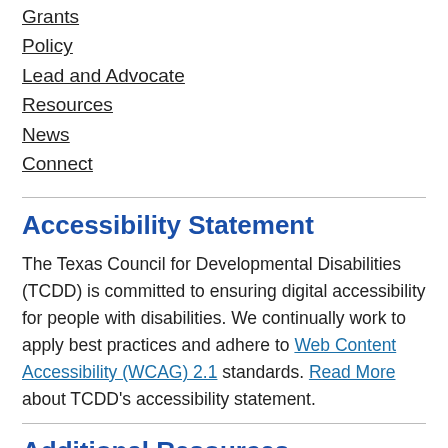Grants
Policy
Lead and Advocate
Resources
News
Connect
Accessibility Statement
The Texas Council for Developmental Disabilities (TCDD) is committed to ensuring digital accessibility for people with disabilities. We continually work to apply best practices and adhere to Web Content Accessibility (WCAG) 2.1 standards. Read More about TCDD's accessibility statement.
Additional Resources
Privacy Policy
People First Language
Engage with Us Online
Position Statements